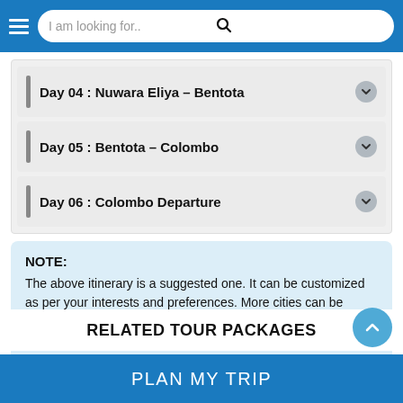I am looking for..
Day 04 : Nuwara Eliya – Bentota
Day 05 : Bentota – Colombo
Day 06 : Colombo Departure
NOTE:
The above itinerary is a suggested one. It can be customized as per your interests and preferences. More cities can be added in the package as per your comfort. The sequence provided can be flexible.
RELATED TOUR PACKAGES
PLAN MY TRIP